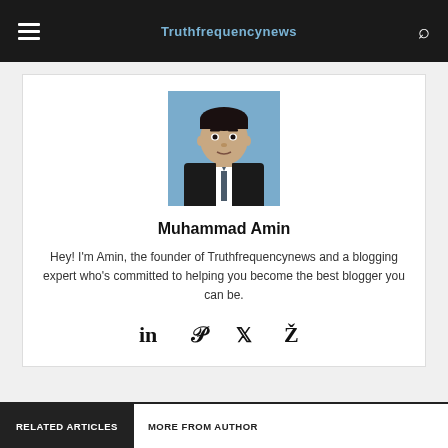Truthfrequencynews
[Figure (photo): Headshot photo of Muhammad Amin, a man in a dark suit with a blue background]
Muhammad Amin
Hey! I'm Amin, the founder of Truthfrequencynews and a blogging expert who's committed to helping you become the best blogger you can be.
[Figure (infographic): Social media icons: LinkedIn, Pinterest, Twitter, Xing]
RELATED ARTICLES   MORE FROM AUTHOR